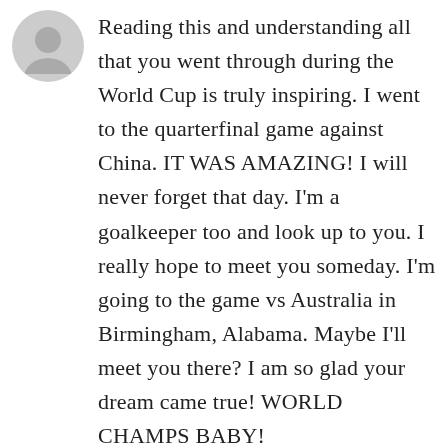[Figure (illustration): Gray circle avatar placeholder with person silhouette]
Reading this and understanding all that you went through during the World Cup is truly inspiring. I went to the quarterfinal game against China. IT WAS AMAZING! I will never forget that day. I'm a goalkeeper too and look up to you. I really hope to meet you someday. I'm going to the game vs Australia in Birmingham, Alabama. Maybe I'll meet you there? I am so glad your dream came true! WORLD CHAMPS BABY!
[Figure (photo): Small photo of a dog (Christine's avatar)]
Christine  August 15, 2015 at 2:29 pm - Reply
This was such a beautifully written